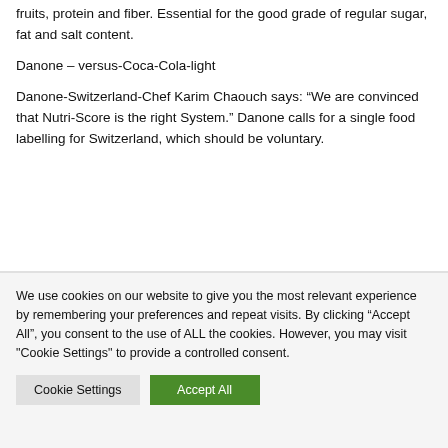fruits, protein and fiber. Essential for the good grade of regular sugar, fat and salt content.
Danone – versus-Coca-Cola-light
Danone-Switzerland-Chef Karim Chaouch says: “We are convinced that Nutri-Score is the right System.” Danone calls for a single food labelling for Switzerland, which should be voluntary.
We use cookies on our website to give you the most relevant experience by remembering your preferences and repeat visits. By clicking “Accept All”, you consent to the use of ALL the cookies. However, you may visit "Cookie Settings" to provide a controlled consent.